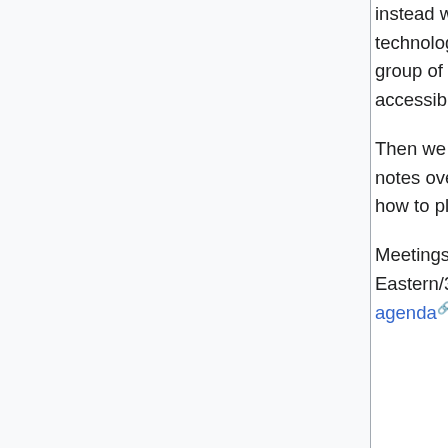instead will focus on assessing the accessibility of other GLAM technologies. Our initial focus was on Zotero. We're collaborating with a group of librarians in Canada who are already pushing for more accessibility within Zotero.
Then we will move on to Online conference platforms. We've collected notes over the past two years about accessibility issues, and will figure out how to place it into a more useful document for the future.
Meetings will be held on the final Monday of the month, at 11am Eastern/3pm GMT. (Timezone converter) Check the 2022 running agenda for more information, including links to register for the meetings.